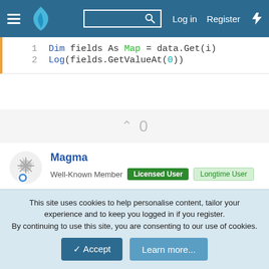[Figure (screenshot): Website navigation bar with hamburger menu, flame logo, search box, Log in, Register links, and lightning bolt icon on dark blue background]
Dim fields As Map = data.Get(i)
Log(fields.GetValueAt(0))
0
Magma
Well-Known Member  Licensed User  Longtime User
Jul 12, 2017  #5
Found a solution posted there:
This site uses cookies to help personalise content, tailor your experience and to keep you logged in if you register.
By continuing to use this site, you are consenting to our use of cookies.